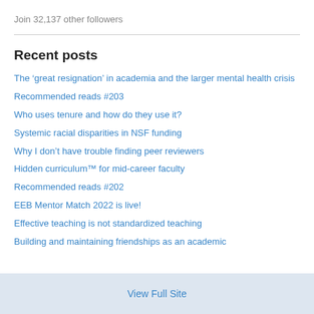Join 32,137 other followers
Recent posts
The ‘great resignation’ in academia and the larger mental health crisis
Recommended reads #203
Who uses tenure and how do they use it?
Systemic racial disparities in NSF funding
Why I don’t have trouble finding peer reviewers
Hidden curriculum™ for mid-career faculty
Recommended reads #202
EEB Mentor Match 2022 is live!
Effective teaching is not standardized teaching
Building and maintaining friendships as an academic
View Full Site